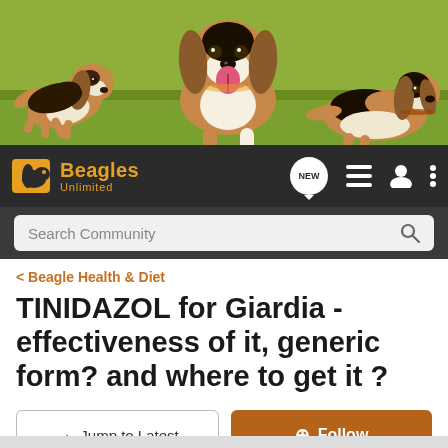[Figure (photo): Three beagle dogs in an outdoor grassy setting. Left: small beagle puppy running. Center: adult beagle with tongue out facing camera. Right: adult beagle lying down.]
[Figure (logo): Beagles Unlimited logo with dog icon and orange text]
Search Community
< Beagle Health & Diet
TINIDAZOL for Giardia - effectiveness of it, generic form? and where to get it ?
→ Jump to Latest
+ Follow